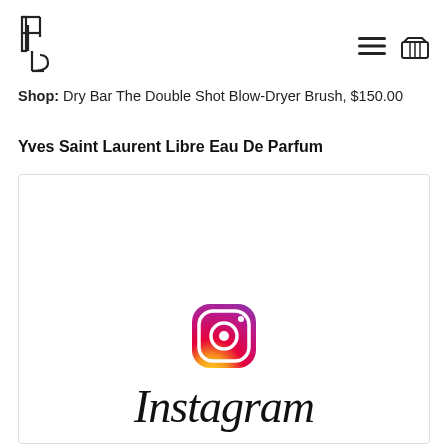Shop: Dry Bar The Double Shot Blow-Dryer Brush, $150.00
Yves Saint Laurent Libre Eau De Parfum
[Figure (screenshot): Instagram logo (camera icon with gradient from orange/yellow to pink/purple) and Instagram wordmark in cursive font inside a bordered card]